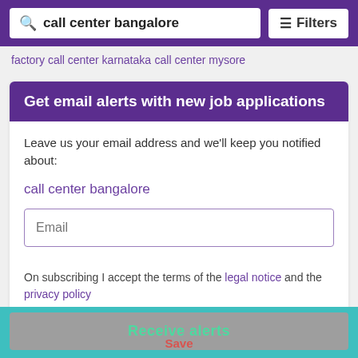call center bangalore | Filters
factory call center karnataka
call center mysore
Get email alerts with new job applications
Leave us your email address and we'll keep you notified about:
call center bangalore
Email
On subscribing I accept the terms of the legal notice and the privacy policy
I would like to receive updates about products I might be interested in
Receive alerts
Save